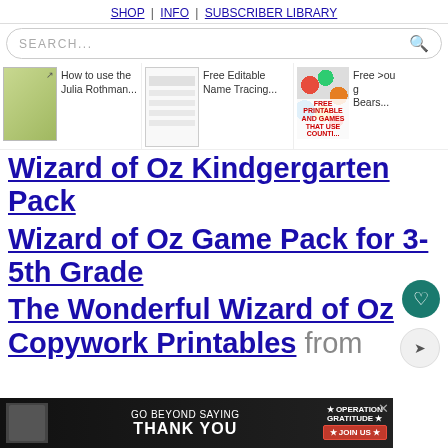SHOP | INFO | SUBSCRIBER LIBRARY
SEARCH...
[Figure (screenshot): Carousel of related content items including thumbnails with captions: 'How to use the Julia Rothman...', 'Free Editable Name Tracing...', 'Free [Counting] Bears...']
Wizard of Oz Kindgergarten Pack
Wizard of Oz Game Pack for 3-5th Grade
The Wonderful Wizard of Oz Copywork Printables from
[Figure (photo): Advertisement banner: GO BEYOND SAYING THANK YOU - OPERATION GRATITUDE - JOIN US]